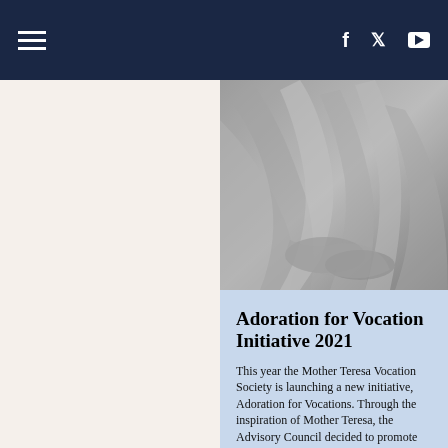Navigation bar with hamburger menu and social icons: Facebook, Twitter, YouTube
[Figure (photo): Black and white close-up photograph of a person's hands and clothing, possibly a nun or religious figure in prayer or repose]
Adoration for Vocation Initiative 2021
This year the Mother Teresa Vocation Society is launching a new initiative, Adoration for Vocations. Through the inspiration of Mother Teresa, the Advisory Council decided to promote prayer before the Blessed Sacrament, specifically Adoration of the Bl...